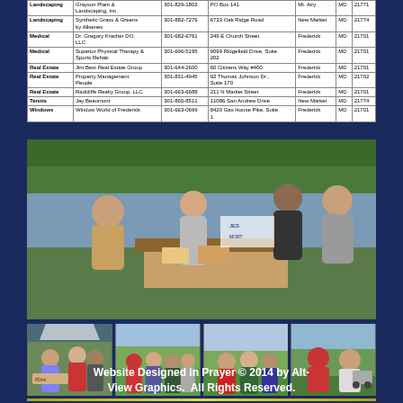| Category | Business Name | Phone | Address | City | State | Zip |
| --- | --- | --- | --- | --- | --- | --- |
| Landscaping | Grayson Plant & Landscaping, Inc. | 301-829-1802 | PO Box 141 | Mt. Airy | MD | 21771 |
| Landscaping | Synthetic Grass & Greens by Allsenes | 301-882-7276 | 6733 Oak Ridge Road | New Market | MD | 21774 |
| Medical | Dr. Gregory Kracher DO, LLC | 301-682-6761 | 249 E Church Street | Frederick | MD | 21701 |
| Medical | Superior Physical Therapy & Sports Rehab | 301-696-5195 | 9099 Ridgefield Drive, Suite 202 | Frederick | MD | 21701 |
| Real Estate | Jim Best Real Estate Group | 301-644-2600 | 60 Citizens Way #400 | Frederick | MD | 21701 |
| Real Estate | Property Management People | 301-831-4945 | 92 Thomas Johnson Dr., Suite 170 | Frederick | MD | 21702 |
| Real Estate | Radcliffe Realty Group, LLC | 301-663-6688 | 211 N Market Street | Frederick | MD | 21701 |
| Tennis | Jay Beaumont | 301-865-8511 | 11086 San Andrew Drive | New Market | MD | 21774 |
| Windows | Window World of Frederick | 301-663-0699 | 8420 Gas House Pike, Suite 1 | Frederick | MD | 21701 |
[Figure (photo): Outdoor event scene with multiple people at a table, appearing to be a community or charity event. A woman in a grey hoodie is speaking or presenting on the right side.]
[Figure (photo): Strip of four smaller event photos showing groups of people at an outdoor golf or community event.]
Website Designed in Prayer © 2014 by Alt-View Graphics.  All Rights Reserved.